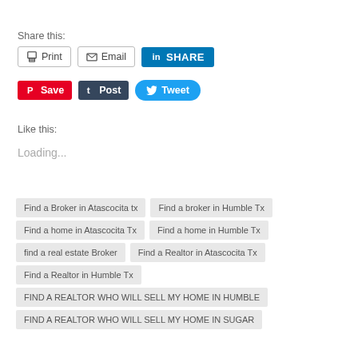Share this:
[Figure (screenshot): Social sharing buttons: Print, Email, LinkedIn SHARE, Pinterest Save, Tumblr Post, Twitter Tweet]
Like this:
Loading...
Find a Broker in Atascocita tx
Find a broker in Humble Tx
Find a home in Atascocita Tx
Find a home in Humble Tx
find a real estate Broker
Find a Realtor in Atascocita Tx
Find a Realtor in Humble Tx
FIND A REALTOR WHO WILL SELL MY HOME IN HUMBLE
FIND A REALTOR WHO WILL SELL MY HOME IN SUGAR